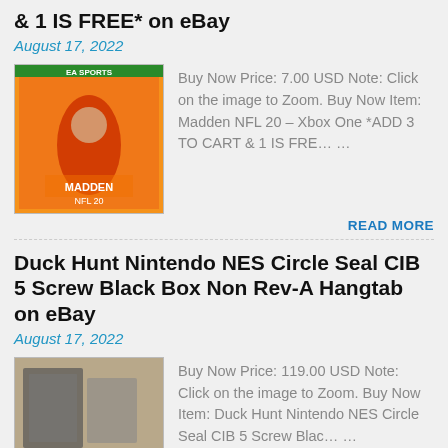& 1 IS FREE* on eBay
August 17, 2022
[Figure (photo): Madden NFL 20 Xbox One game cover with orange background]
Buy Now Price: 7.00 USD Note: Click on the image to Zoom. Buy Now Item: Madden NFL 20 – Xbox One *ADD 3 TO CART & 1 IS FREE ...
READ MORE
Duck Hunt Nintendo NES Circle Seal CIB 5 Screw Black Box Non Rev-A Hangtab on eBay
August 17, 2022
[Figure (photo): Duck Hunt Nintendo NES game items laid out on wooden surface including cartridge, box, and manuals]
Buy Now Price: 119.00 USD Note: Click on the image to Zoom. Buy Now Item: Duck Hunt Nintendo NES Circle Seal CIB 5 Screw Blac ...
READ M